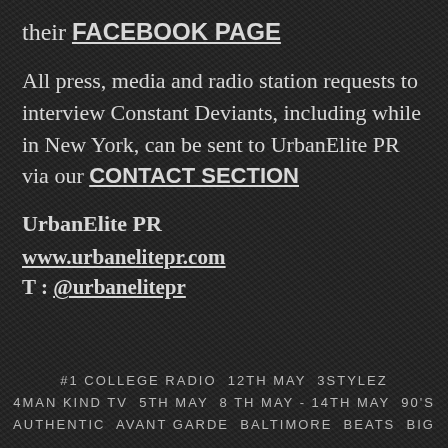their FACEBOOK PAGE
All press, media and radio station requests to interview Constant Deviants, including while in New York, can be sent to UrbanElite PR via our CONTACT SECTION
UrbanElite PR
www.urbanelitepr.com
T : @urbanelitepr
#1 COLLEGE RADIO  12TH MAY  3STYLEZ  4MAN KIND TV  5TH MAY  8TH MAY - 14TH MAY  90'S  AUTHENTIC  AVANT GARDE  BALTIMORE  BEATS  BIG